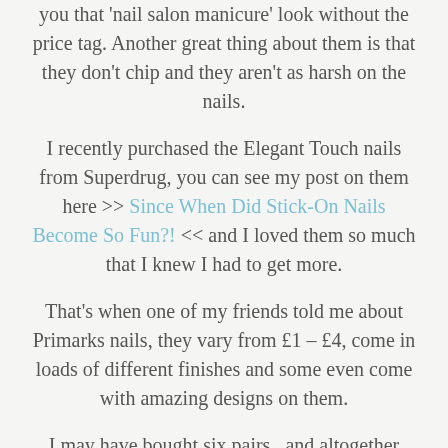you that 'nail salon manicure' look without the price tag. Another great thing about them is that they don't chip and they aren't as harsh on the nails.
I recently purchased the Elegant Touch nails from Superdrug, you can see my post on them here >> Since When Did Stick-On Nails Become So Fun?! << and I loved them so much that I knew I had to get more.
That's when one of my friends told me about Primarks nails, they vary from £1 – £4, come in loads of different finishes and some even come with amazing designs on them.
I may have bought six pairs.. and altogether they came to less than a tenner.. amazing...